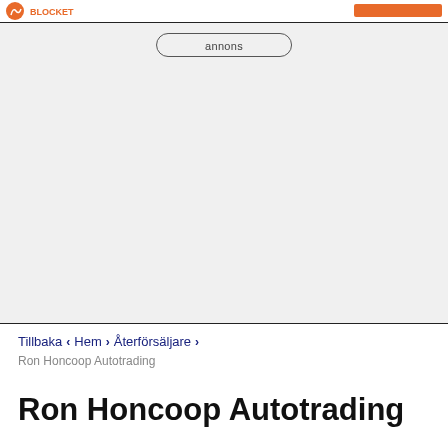annons
Tillbaka  <  Hem  >  Återförsäljare  >
Ron Honcoop Autotrading
Ron Honcoop Autotrading